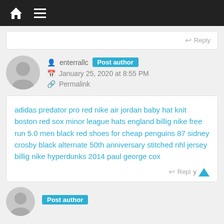Navigation bar with home and menu icons
Reply
enterrallc Post author
January 25, 2020 at 8:55 PM
Permalink
adidas predator pro red nike air jordan baby hat knit boston red sox minor league hats england billig nike free run 5.0 men black red shoes for cheap penguins 87 sidney crosby black alternate 50th anniversary stitched nhl jersey billig nike hyperdunks 2014 paul george cox
Reply